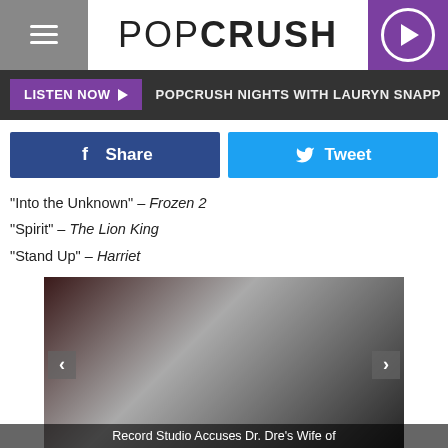POPCRUSH
LISTEN NOW ▶  POPCRUSH NIGHTS WITH LAURYN SNAPP
Share  Tweet
"Into the Unknown" – Frozen 2
"Spirit" – The Lion King
"Stand Up" – Harriet
[Figure (photo): Two people posing at an event — a woman in a dark patterned dress and a man in a dark suit with tie. Black and white/dark background.]
Record Studio Accuses Dr. Dre's Wife of